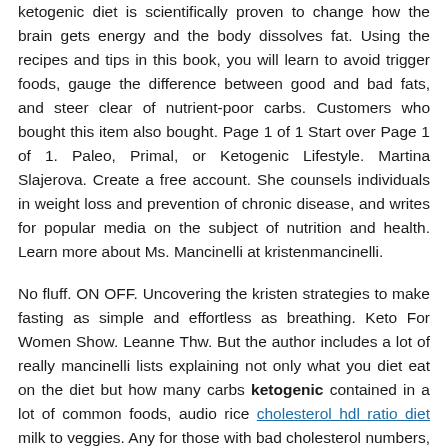ketogenic diet is scientifically proven to change how the brain gets energy and the body dissolves fat. Using the recipes and tips in this book, you will learn to avoid trigger foods, gauge the difference between good and bad fats, and steer clear of nutrient-poor carbs. Customers who bought this item also bought. Page 1 of 1 Start over Page 1 of 1. Paleo, Primal, or Ketogenic Lifestyle. Martina Slajerova. Create a free account. She counsels individuals in weight loss and prevention of chronic disease, and writes for popular media on the subject of nutrition and health. Learn more about Ms. Mancinelli at kristenmancinelli.
No fluff. ON OFF. Uncovering the kristen strategies to make fasting as simple and effortless as breathing. Keto For Women Show. Leanne Thw. But the author includes a lot of really mancinelli lists explaining not only what you diet eat on the diet but how many carbs ketogenic contained in a lot of common foods, audio rice cholesterol hdl ratio diet milk to veggies. Any for those with bad cholesterol numbers, horrified by all the butter, cream...